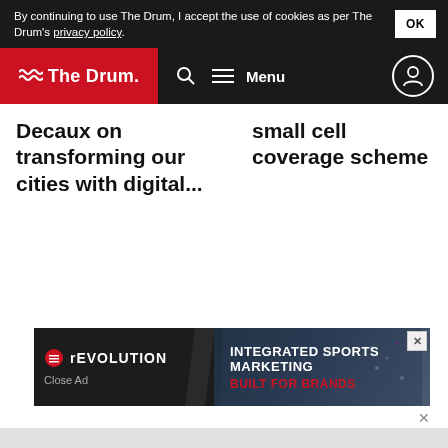By continuing to use The Drum, I accept the use of cookies as per The Drum's privacy policy.
[Figure (screenshot): The Drum website navigation bar with logo, search icon, and menu]
Decaux on transforming our cities with digital...
small cell coverage scheme
[Figure (screenshot): Revolution Sports Marketing advertisement banner: INTEGRATED SPORTS MARKETING BUILT FOR BRANDS with Close Ad button]